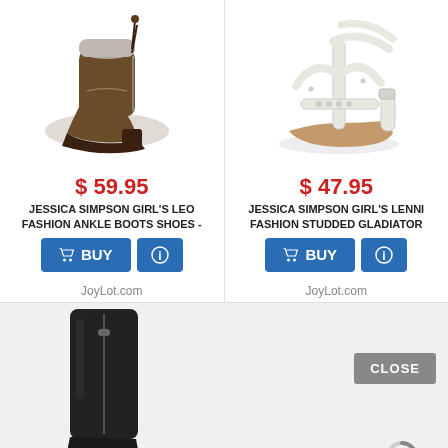[Figure (photo): Brown leather ankle boot with lace detail and low heel - Jessica Simpson Girl's Leo]
[Figure (photo): White studded gladiator sandal with T-strap design - Jessica Simpson Girl's Lenni]
$ 59.95
JESSICA SIMPSON GIRL'S LEO FASHION ANKLE BOOTS SHOES -
$ 47.95
JESSICA SIMPSON GIRL'S LENNI FASHION STUDDED GLADIATOR
JoyLot.com
JoyLot.com
[Figure (photo): Black tall boot partially visible at bottom of page]
[Figure (other): Loading spinner icon]